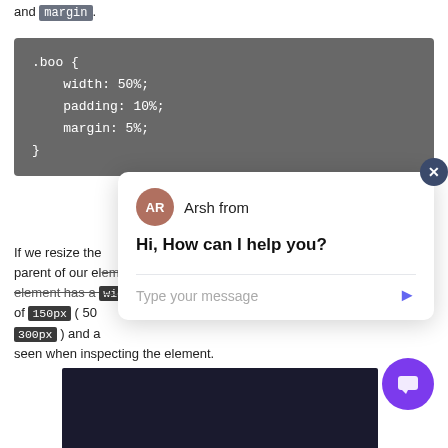and margin.
[Figure (screenshot): Dark grey code block showing CSS: .boo { width: 50%; padding: 10%; margin: 5%; }]
If we resize the parent of our element, it is 300px, then our element has a width of 150px (50% of 300px) and a padding and margin seen when inspecting the element.
[Figure (screenshot): Chat popup from 'Arsh from' with message 'Hi, How can I help you?' and a message input field. Also a purple chat FAB button and a dark image at the bottom.]